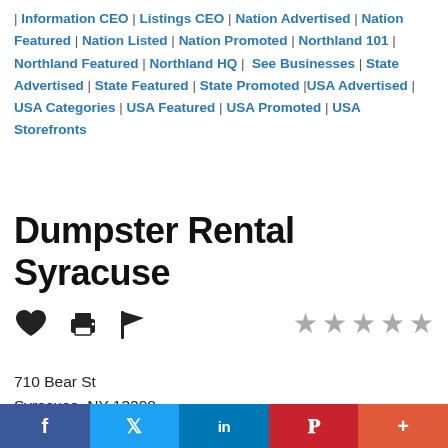| Information CEO | Listings CEO | Nation Advertised | Nation Featured | Nation Listed | Nation Promoted | Northland 101 | Northland Featured | Northland HQ | See Businesses | State Advertised | State Featured | State Promoted |USA Advertised | USA Categories | USA Featured | USA Promoted | USA Storefronts
Dumpster Rental Syracuse
[Figure (infographic): Row of icons: heart, printer, flag; and five grey stars rating]
710 Bear St
Syracuse, NY 13208
United States
f  Twitter  in  P  +